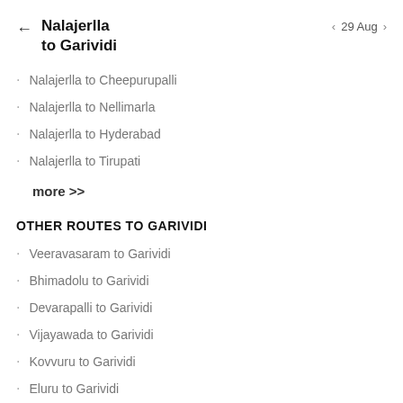Nalajerlla to Garividi
29 Aug
Nalajerlla to Cheepurupalli
Nalajerlla to Nellimarla
Nalajerlla to Hyderabad
Nalajerlla to Tirupati
more >>
OTHER ROUTES TO GARIVIDI
Veeravasaram to Garividi
Bhimadolu to Garividi
Devarapalli to Garividi
Vijayawada to Garividi
Kovvuru to Garividi
Eluru to Garividi